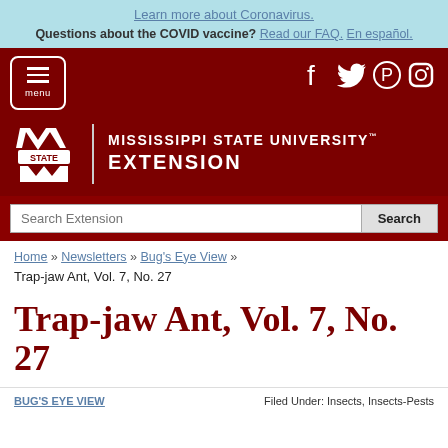Learn more about Coronavirus. Questions about the COVID vaccine? Read our FAQ. En español.
[Figure (screenshot): Mississippi State University Extension website header with maroon background, menu button, social media icons (Facebook, Twitter, Pinterest, Instagram), MSU logo with STATE shield, and university name.]
Search Extension  [Search button]
Home » Newsletters » Bug's Eye View »
Trap-jaw Ant, Vol. 7, No. 27
Trap-jaw Ant, Vol. 7, No. 27
BUG'S EYE VIEW   Filed Under: Insects, Insects-Pests